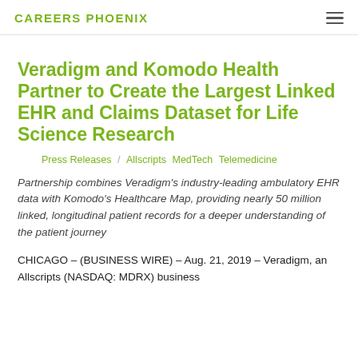CAREERS PHOENIX
Veradigm and Komodo Health Partner to Create the Largest Linked EHR and Claims Dataset for Life Science Research
Press Releases / Allscripts  MedTech  Telemedicine
Partnership combines Veradigm's industry-leading ambulatory EHR data with Komodo's Healthcare Map, providing nearly 50 million linked, longitudinal patient records for a deeper understanding of the patient journey
CHICAGO – (BUSINESS WIRE) – Aug. 21, 2019 – Veradigm, an Allscripts (NASDAQ: MDRX) business